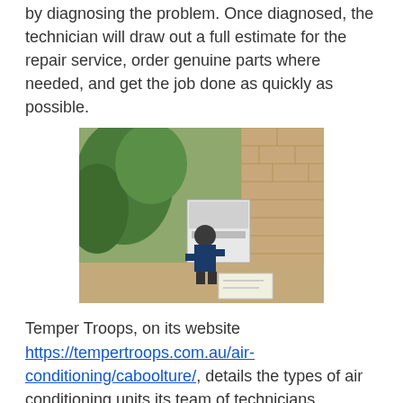by diagnosing the problem. Once diagnosed, the technician will draw out a full estimate for the repair service, order genuine parts where needed, and get the job done as quickly as possible.
[Figure (photo): A technician crouching beside an outdoor air conditioning unit in a narrow courtyard with brick walls and green plants.]
Temper Troops, on its website https://tempertroops.com.au/air-conditioning/caboolture/, details the types of air conditioning units its team of technicians handles. Customers looking to install ducted air conditioning systems can contact them to discuss the numerous available options and the best choice for their residential or commercial needs. Their technicians are also familiar with the installation and repair of ductless air conditioning systems. Customers who wish to know the difference between the options can ask as many questions as